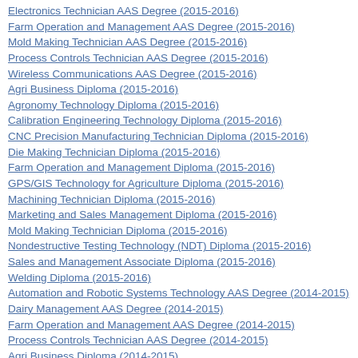Electronics Technician AAS Degree (2015-2016)
Farm Operation and Management AAS Degree (2015-2016)
Mold Making Technician AAS Degree (2015-2016)
Process Controls Technician AAS Degree (2015-2016)
Wireless Communications AAS Degree (2015-2016)
Agri Business Diploma (2015-2016)
Agronomy Technology Diploma (2015-2016)
Calibration Engineering Technology Diploma (2015-2016)
CNC Precision Manufacturing Technician Diploma (2015-2016)
Die Making Technician Diploma (2015-2016)
Farm Operation and Management Diploma (2015-2016)
GPS/GIS Technology for Agriculture Diploma (2015-2016)
Machining Technician Diploma (2015-2016)
Marketing and Sales Management Diploma (2015-2016)
Mold Making Technician Diploma (2015-2016)
Nondestructive Testing Technology (NDT) Diploma (2015-2016)
Sales and Management Associate Diploma (2015-2016)
Welding Diploma (2015-2016)
Automation and Robotic Systems Technology AAS Degree (2014-2015)
Dairy Management AAS Degree (2014-2015)
Farm Operation and Management AAS Degree (2014-2015)
Process Controls Technician AAS Degree (2014-2015)
Agri Business Diploma (2014-2015)
Calibration Engineering Technology Diploma (2014-2015)
Dairy Management Diploma (2014-2015)